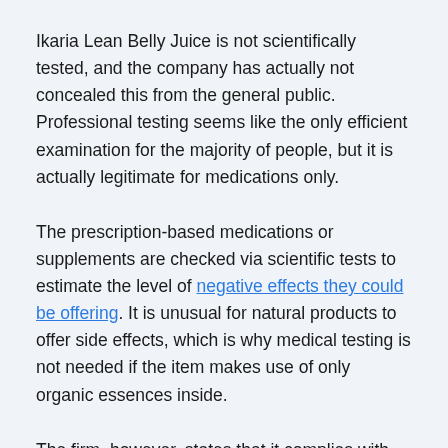Ikaria Lean Belly Juice is not scientifically tested, and the company has actually not concealed this from the general public. Professional testing seems like the only efficient examination for the majority of people, but it is actually legitimate for medications only.
The prescription-based medications or supplements are checked via scientific tests to estimate the level of negative effects they could be offering. It is unusual for natural products to offer side effects, which is why medical testing is not needed if the item makes use of only organic essences inside.
The firm, however, states that it complies with